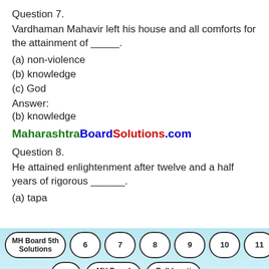Question 7.
Vardhaman Mahavir left his house and all comforts for the attainment of _____.
(a) non-violence
(b) knowledge
(c) God
Answer:
(b) knowledge
MaharashtraBoardSolutions.com
Question 8.
He attained enlightenment after twelve and a half years of rigorous ______.
(a) tapa
MH Board 5th Solutions  6  7  8  9  10  11  12  MH Board Books  Balbharati Solutions